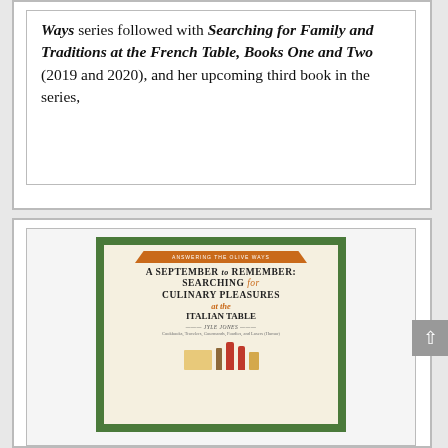Ways series followed with Searching for Family and Traditions at the French Table, Books One and Two (2019 and 2020), and her upcoming third book in the series,
[Figure (illustration): Book cover of 'A September to Remember: Searching for Culinary Pleasures at the Italian Table' with green border, cream background, orange banner at top reading 'Answering the Olive Ways', and decorative elements at bottom including bottles and food items.]